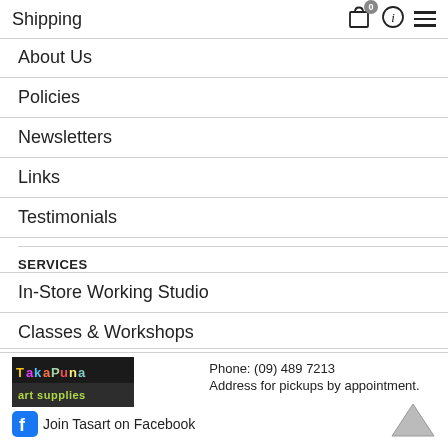Shipping
About Us
Policies
Newsletters
Links
Testimonials
SERVICES
In-Store Working Studio
Classes & Workshops
[Figure (logo): Takapuna art supplies logo with colorful text on dark background, Facebook join banner below]
Phone: (09) 489 7213
Address for pickups by appointment.